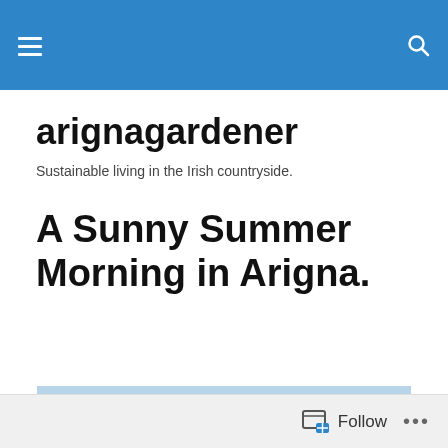arignagardener — navigation header bar
arignagardener
Sustainable living in the Irish countryside.
A Sunny Summer Morning in Arigna.
[Figure (photo): Outdoor garden scene showing lush green plants, raised beds, a polytunnel/greenhouse on the right, fencing in the background, and trees under a partly cloudy sky.]
Follow  •••